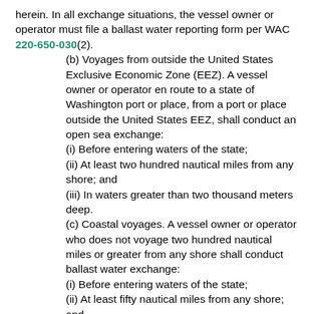herein. In all exchange situations, the vessel owner or operator must file a ballast water reporting form per WAC 220-650-030(2).
(b) Voyages from outside the United States Exclusive Economic Zone (EEZ). A vessel owner or operator en route to a state of Washington port or place, from a port or place outside the United States EEZ, shall conduct an open sea exchange:
(i) Before entering waters of the state;
(ii) At least two hundred nautical miles from any shore; and
(iii) In waters greater than two thousand meters deep.
(c) Coastal voyages. A vessel owner or operator who does not voyage two hundred nautical miles or greater from any shore shall conduct ballast water exchange:
(i) Before entering waters of the state;
(ii) At least fifty nautical miles from any shore; and
(iii) In water at least two hundred meters deep.
(4) Common water exemption. Vessels